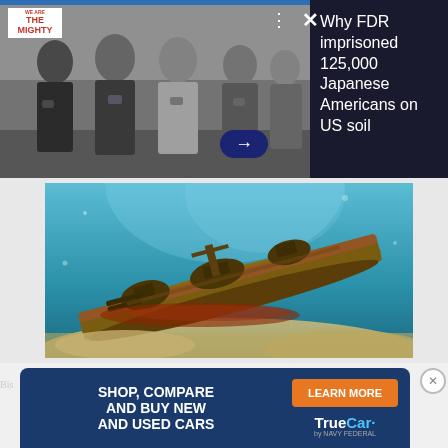[Figure (screenshot): We Are The Mighty advertisement banner showing black and white photo of Japanese American children with hands on hearts, with text: 'Why FDR imprisoned 125,000 Japanese Americans on US soil']
[Figure (photo): Underwater photograph of a sunken warship wreck resting on sandy ocean floor, with blue water surrounding it]
[Figure (screenshot): TrueCar advertisement with dark blue background: 'SHOP, COMPARE AND BUY NEW AND USED CARS' with orange LEARN MORE button and TrueCar by Navy Federal logo]